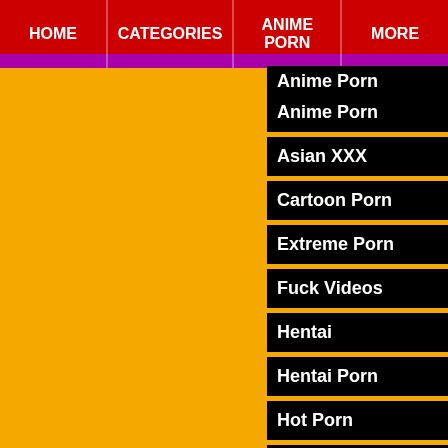HOME | CATEGORIES | ANIME PORN | MORE
Anime Porn
Asian XXX
Cartoon Porn
Extreme Porn
Fuck Videos
Hentai
Hentai Porn
Hot Porn
Hentai Anime
Hentai Video
Hentai Movie
Hentai Sex
Japan Porn